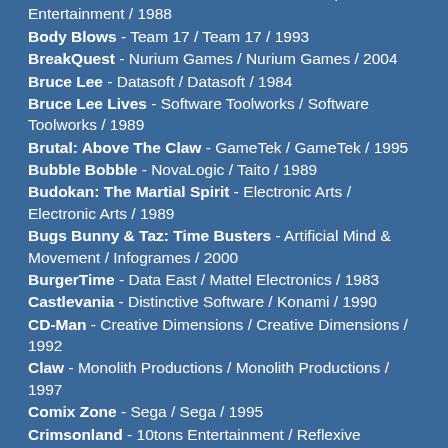Bionic Commando - Pacific Dataworks / Capcom Entertainment / 1988
Body Blows - Team 17 / Team 17 / 1993
BreakQuest - Nurium Games / Nurium Games / 2004
Bruce Lee - Datasoft / Datasoft / 1984
Bruce Lee Lives - Software Toolworks / Software Toolworks / 1989
Brutal: Above The Claw - GameTek / GameTek / 1995
Bubble Bobble - NovaLogic / Taito / 1989
Budokan: The Martial Spirit - Electronic Arts / Electronic Arts / 1989
Bugs Bunny & Taz: Time Busters - Artificial Mind & Movement / Infogrames / 2000
BurgerTime - Data East / Mattel Electronics / 1983
Castlevania - Distinctive Software / Konami / 1990
CD-Man - Creative Dimensions / Creative Dimensions / 1992
Claw - Monolith Productions / Monolith Productions / 1997
Comix Zone - Sega / Sega / 1995
Crimsonland - 10tons Entertainment / Reflexive Entertainment / 2003
Croc: Legend of the Gobbos - Argonaut Software / Fox Interactive / 1998
Crossfire - Sierra On-Line / Sierra On-Line / 1982